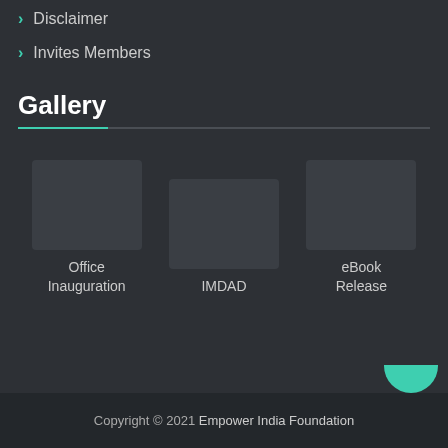Disclaimer
Invites Members
Gallery
[Figure (photo): Three gallery image placeholders labeled Office Inauguration, IMDAD, and eBook Release]
Office Inauguration
IMDAD
eBook Release
Copyright © 2021 Empower India Foundation